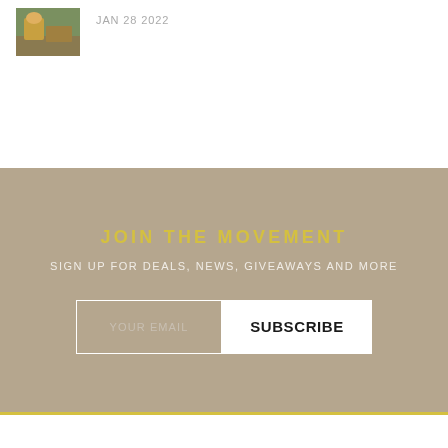[Figure (photo): Small thumbnail photo of a person or animal outdoors, brownish-yellow tones]
JAN 28 2022
JOIN THE MOVEMENT
SIGN UP FOR DEALS, NEWS, GIVEAWAYS AND MORE
YOUR EMAIL
SUBSCRIBE